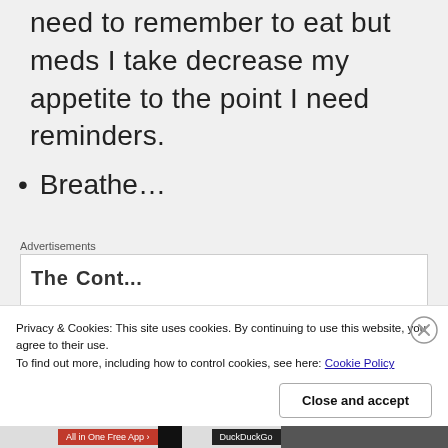need to remember to eat but meds I take decrease my appetite to the point I need reminders.
Breathe…
Advertisements
Privacy & Cookies: This site uses cookies. By continuing to use this website, you agree to their use.
To find out more, including how to control cookies, see here: Cookie Policy
Close and accept